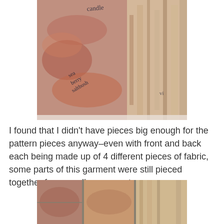[Figure (photo): Photo of naturally dyed fabric pieces laid out, with handwritten text reading 'sea berry saltbush' and partial text 'candle' visible. The fabric shows mottled earthy tones of rust, brown, cream and beige from natural dyeing.]
I found that I didn't have pieces big enough for the pattern pieces anyway–even with front and back each being made up of 4 different pieces of fabric, some parts of this garment were still pieced together from smaller segments.
[Figure (photo): Photo of patchwork fabric pieces sewn together, showing earthy toned naturally dyed fabrics in rust, brown and beige tones pieced together with visible seams.]